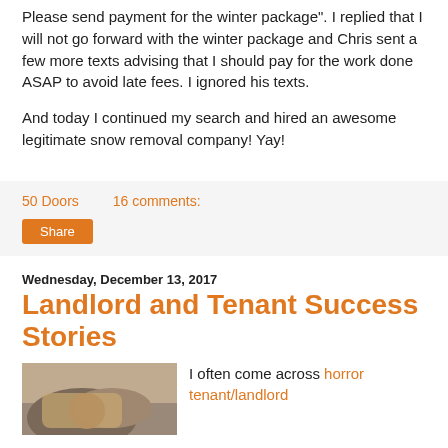Please send payment for the winter package". I replied that I will not go forward with the winter package and Chris sent a few more texts advising that I should pay for the work done ASAP to avoid late fees. I ignored his texts.

And today I continued my search and hired an awesome legitimate snow removal company! Yay!
50 Doors    16 comments:
Share
Wednesday, December 13, 2017
Landlord and Tenant Success Stories
I often come across horror tenant/landlord